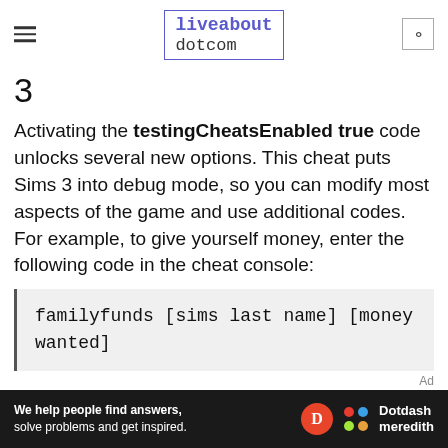liveabout dotcom
3
Activating the testingCheatsEnabled true code unlocks several new options. This cheat puts Sims 3 into debug mode, so you can modify most aspects of the game and use additional codes. For example, to give yourself money, enter the following code in the cheat console:
[Figure (other): Dotdash Meredith advertisement banner: 'We help people find answers, solve problems and get inspired.']